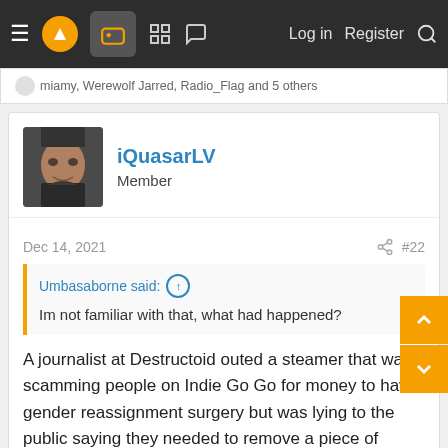≡  [logo]  [gamepad icon]  [grid icon]  [chat icon]    Log in   Register   [search]
miamy, Werewolf Jarred, Radio_Flag and 5 others
iQuasarLV
Member
Dec 14, 2021   #22
Umbasaborne said: ↑
Im not familiar with that, what had happened?
A journalist at Destructoid outed a steamer that was scamming people on Indie Go Go for money to have gender reassignment surgery but was lying to the public saying they needed to remove a piece of shrapnel from a car accident that was slowly killing them. The trans community targeted the journalist for outing a trans person and spent the next while stalking and doxing him so that he couldn't find a job after Destructoid fired him.